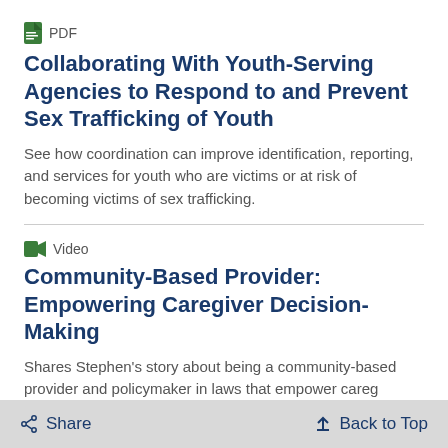PDF
Collaborating With Youth-Serving Agencies to Respond to and Prevent Sex Trafficking of Youth
See how coordination can improve identification, reporting, and services for youth who are victims or at risk of becoming victims of sex trafficking.
Video
Community-Based Provider: Empowering Caregiver Decision-Making
Shares Stephen's story about being a community-based provider and policymaker in… laws that empower careg…
Share   Back to Top